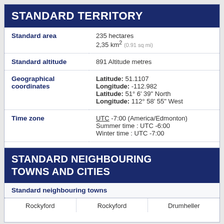STANDARD TERRITORY
| Field | Value |
| --- | --- |
| Standard area | 235 hectares
2,35 km² (0.91 sq mi) |
| Standard altitude | 891 Altitude metres |
| Geographical coordinates | Latitude: 51.1107
Longitude: -112.982
Latitude: 51° 6' 39" North
Longitude: 112° 58' 55" West |
| Time zone | UTC -7:00 (America/Edmonton)
Summer time : UTC -6:00
Winter time : UTC -7:00 |
| Local time |  |
STANDARD NEIGHBOURING TOWNS AND CITIES
Standard neighbouring towns
Rockyford   Rockyford   Drumheller